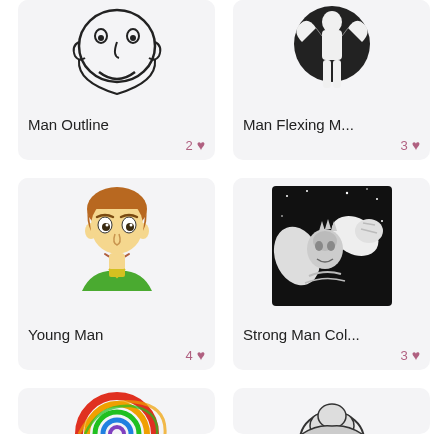[Figure (illustration): Man Outline – simple black line drawing of a chubby face/head]
Man Outline
2 ♥
[Figure (illustration): Man Flexing Muscles – vintage black and white illustration of a strongman standing in front of a dark circle]
Man Flexing M...
3 ♥
[Figure (illustration): Young Man – cartoon colored illustration of a young boy with brown hair and green shirt]
Young Man
4 ♥
[Figure (illustration): Strong Man Col... – black and white comic illustration of a muscular man flexing against a dark space background]
Strong Man Col...
3 ♥
[Figure (illustration): Partial card at bottom left – colorful circular swirl illustration (partially visible)]
[Figure (illustration): Partial card at bottom right – black and white illustration of a person (partially visible)]